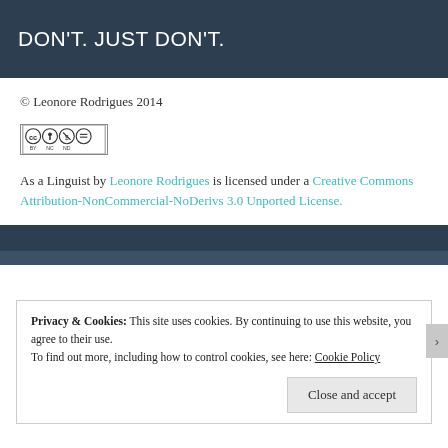DON'T. JUST DON'T.
© Leonore Rodrigues 2014
[Figure (logo): Creative Commons BY NC ND license badge]
As a Linguist by Leonore Rodrigues is licensed under a Creative Commons Attribution-NonCommercial-NoDerivs 3.0 Unported License.
Privacy & Cookies: This site uses cookies. By continuing to use this website, you agree to their use. To find out more, including how to control cookies, see here: Cookie Policy
Close and accept